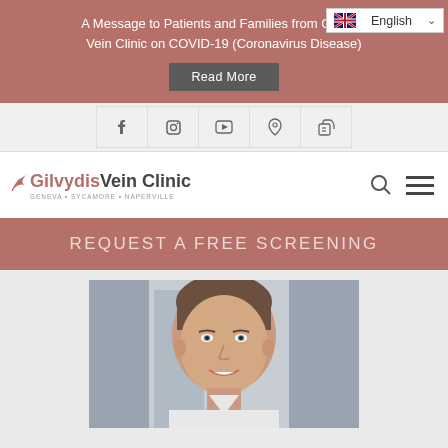A Message to Patients and Families from Gilvydis Vein Clinic on COVID-19 (Coronavirus Disease)
Read More
[Figure (other): Language selector showing English with UK flag]
[Figure (other): Social media icon bar with Facebook, Instagram, YouTube, Pinterest, LinkedIn icons]
[Figure (logo): Gilvydis Vein Clinic logo with tagline GENEVA + SYCAMORE + NAPERVILLE, search and menu icons]
REQUEST A FREE SCREENING
[Figure (photo): Professional headshot photo of a smiling middle-aged man with short brown/grey hair and blue eyes against a blurred architectural background]